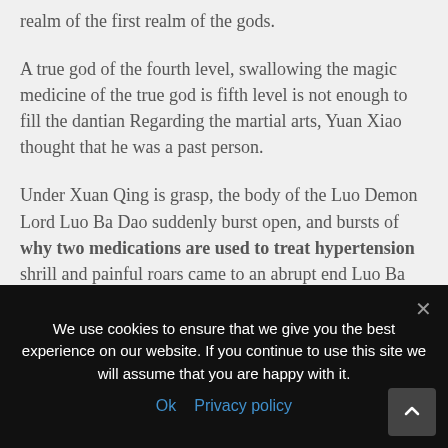realm of the first realm of the gods.
A true god of the fourth level, swallowing the magic medicine of the true god is fifth level is not enough to fill the dantian Regarding the martial arts, Yuan Xiao thought that he was a past person.
Under Xuan Qing is grasp, the body of the Luo Demon Lord Luo Ba Dao suddenly burst open, and bursts of why two medications are used to treat hypertension shrill and painful roars came to an abrupt end Luo Ba Dao, the first powerhouse in
We use cookies to ensure that we give you the best experience on our website. If you continue to use this site we will assume that you are happy with it.
Ok   Privacy policy